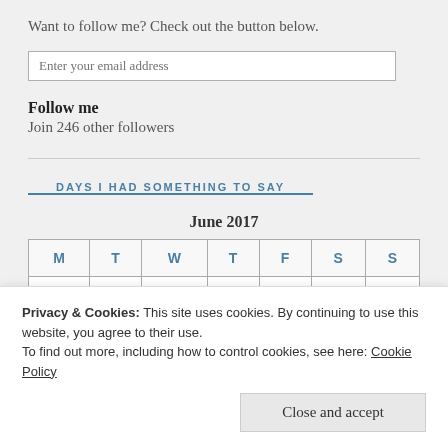Want to follow me? Check out the button below.
[Figure (other): Email input field with placeholder text 'Enter your email address']
Follow me
Join 246 other followers
DAYS I HAD SOMETHING TO SAY
| M | T | W | T | F | S | S |
| --- | --- | --- | --- | --- | --- | --- |
|  |  |  |  |  |  |  |
| 12 | 13 | 14 | 15 | 16 | 17 | 18 |
Privacy & Cookies: This site uses cookies. By continuing to use this website, you agree to their use.
To find out more, including how to control cookies, see here: Cookie Policy
Close and accept